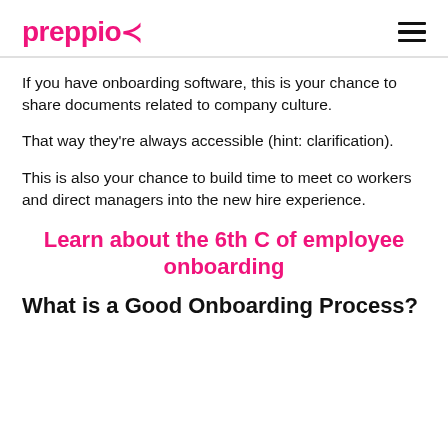preppio≺
If you have onboarding software, this is your chance to share documents related to company culture.
That way they're always accessible (hint: clarification).
This is also your chance to build time to meet co workers and direct managers into the new hire experience.
Learn about the 6th C of employee onboarding
What is a Good Onboarding Process?